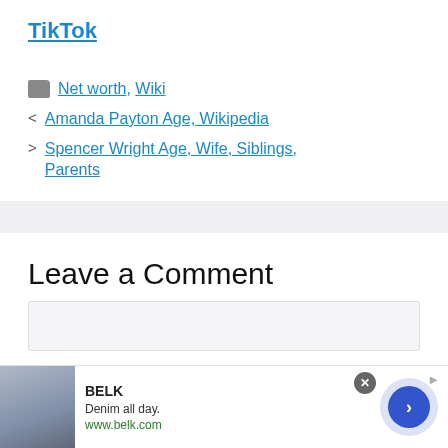TikTok
Net worth, Wiki
< Amanda Payton Age, Wikipedia
> Spencer Wright Age, Wife, Siblings, Parents
Leave a Comment
[Figure (screenshot): BELK advertisement banner: Denim all day. www.belk.com with navigation arrow button]